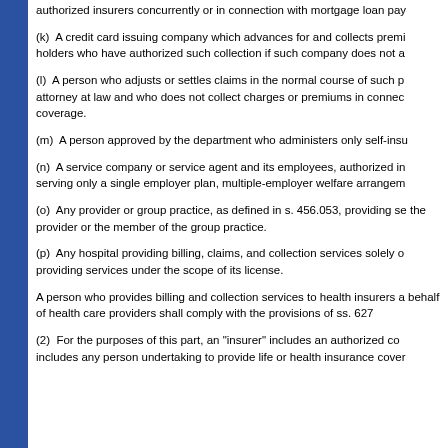authorized insurers concurrently or in connection with mortgage loan pay
(k)  A credit card issuing company which advances for and collects premi holders who have authorized such collection if such company does not a
(l)  A person who adjusts or settles claims in the normal course of such p attorney at law and who does not collect charges or premiums in connec coverage.
(m)  A person approved by the department who administers only self-insu
(n)  A service company or service agent and its employees, authorized in serving only a single employer plan, multiple-employer welfare arrangem
(o)  Any provider or group practice, as defined in s. 456.053, providing se the provider or the member of the group practice.
(p)  Any hospital providing billing, claims, and collection services solely o providing services under the scope of its license.
A person who provides billing and collection services to health insurers a behalf of health care providers shall comply with the provisions of ss. 627
(2)  For the purposes of this part, an "insurer" includes an authorized co includes any person undertaking to provide life or health insurance cover